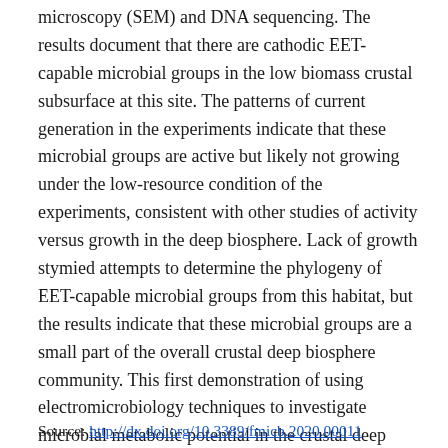microscopy (SEM) and DNA sequencing. The results document that there are cathodic EET-capable microbial groups in the low biomass crustal subsurface at this site. The patterns of current generation in the experiments indicate that these microbial groups are active but likely not growing under the low-resource condition of the experiments, consistent with other studies of activity versus growth in the deep biosphere. Lack of growth stymied attempts to determine the phylogeny of EET-capable microbial groups from this habitat, but the results indicate that these microbial groups are a small part of the overall crustal deep biosphere community. This first demonstration of using electromicrobiology techniques to investigate microbial metabolic potential in the crustal deep biosphere reveals the challenges and opportunities for studying EET in the crustal deep biosphere.
Source: http://dx.doi.org/10.3389/fmicb.2020.00011